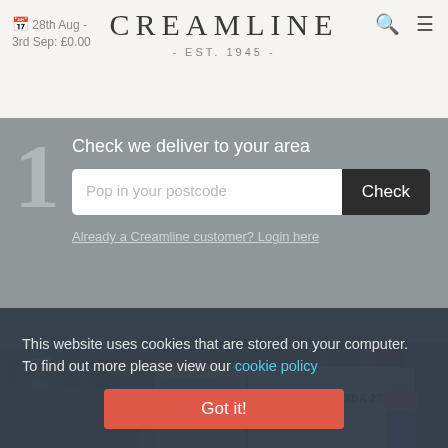28th Aug - 3rd Sep: £0.00
CREAMLINE - EST. 1945 -
Check we deliver to your area
Pop in your postcode
Already a Creamline customer? Login here
[Figure (photo): Creamline milk delivery van with registration XBA 271X parked on a residential street. A bald man in a blue shirt is visible next to the van. The street has brick terraced houses and trees in the background.]
27 JUL
This website uses cookies that are stored on your computer. To find out more please view our cookie policy
Got it!